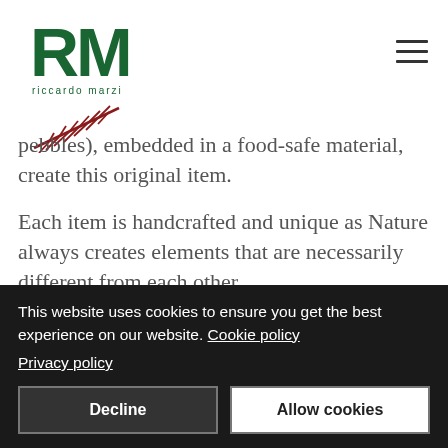[Figure (logo): Riccardo Marzi brand logo with RM letters in dark green, 'riccardo marzi' text, and a red fern/feather illustration below]
pebbles), embedded in a food-safe material, create this original item.
Each item is handcrafted and unique as Nature always creates elements that are necessarily different from each other.
Used materials
This small cat is made of Nature's elements
This website uses cookies to ensure you get the best experience on our website. Cookie policy Privacy policy
Decline
Allow cookies